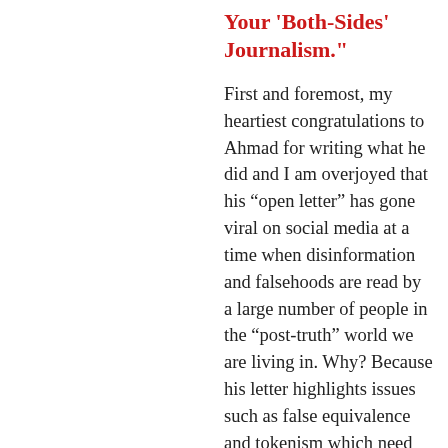Your 'Both-Sides' Journalism."
First and foremost, my heartiest congratulations to Ahmad for writing what he did and I am overjoyed that his “open letter” has gone viral on social media at a time when disinformation and falsehoods are read by a large number of people in the “post-truth” world we are living in. Why? Because his letter highlights issues such as false equivalence and tokenism which need